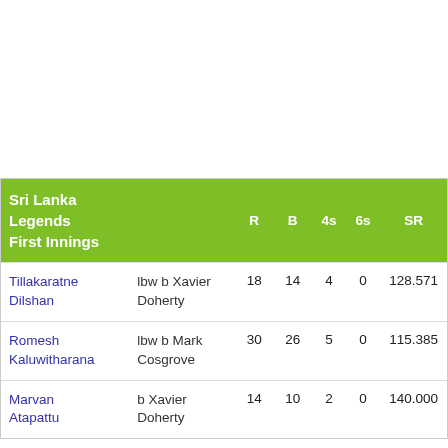| Sri Lanka Legends First Innings |  | R | B | 4s | 6s | SR |
| --- | --- | --- | --- | --- | --- | --- |
| Tillakaratne Dilshan | lbw b Xavier Doherty | 18 | 14 | 4 | 0 | 128.571 |
| Romesh Kaluwitharana | lbw b Mark Cosgrove | 30 | 26 | 5 | 0 | 115.385 |
| Marvan Atapattu | b Xavier Doherty | 14 | 10 | 2 | 0 | 140.000 |